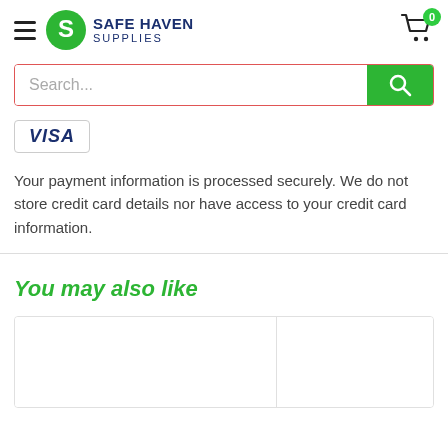[Figure (logo): Safe Haven Supplies logo with green S icon and brand name]
[Figure (screenshot): Shopping cart icon with green badge showing 0]
[Figure (screenshot): Search bar with red border and green search button]
[Figure (logo): VISA payment badge in dark blue italic text with border]
Your payment information is processed securely. We do not store credit card details nor have access to your credit card information.
You may also like
[Figure (screenshot): Two product card placeholders side by side, white background with light border]